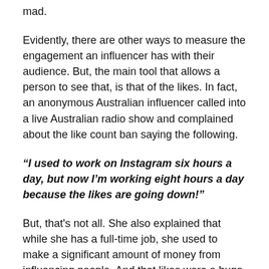mad.
Evidently, there are other ways to measure the engagement an influencer has with their audience. But, the main tool that allows a person to see that, is that of the likes. In fact, an anonymous Australian influencer called into a live Australian radio show and complained about the like count ban saying the following.
“I used to work on Instagram six hours a day, but now I’m working eight hours a day because the likes are going down!”
But, that's not all. She also explained that while she has a full-time job, she used to make a significant amount of money from influencing people. And that likes were a huge part of that. Unfortunately, with Instagram’s latest update, that